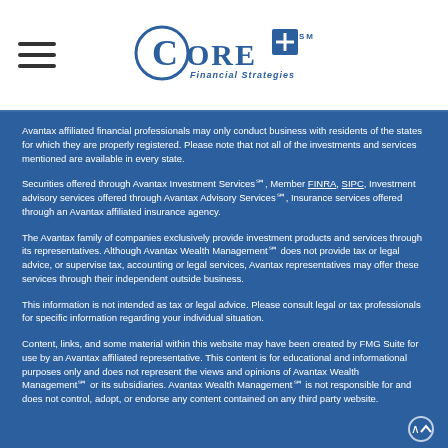[Figure (logo): Core+ Financial Strategies logo with hamburger menu icon on left]
Avantax affiliated financial professionals may only conduct business with residents of the states for which they are properly registered. Please note that not all of the investments and services mentioned are available in every state.
Securities offered through Avantax Investment Services℠, Member FINRA, SIPC, Investment advisory services offered through Avantax Advisory Services℠, Insurance services offered through an Avantax affiliated insurance agency.
The Avantax family of companies exclusively provide investment products and services through its representatives. Although Avantax Wealth Management℠ does not provide tax or legal advice, or supervise tax, accounting or legal services, Avantax representatives may offer these services through their independent outside business.
This information is not intended as tax or legal advice. Please consult legal or tax professionals for specific information regarding your individual situation.
Content, links, and some material within this website may have been created by FMG Suite for use by an Avantax affiliated representative. This content is for educational and informational purposes only and does not represent the views and opinions of Avantax Wealth Management℠ or its subsidiaries. Avantax Wealth Management℠ is not responsible for and does not control, adopt, or endorse any content contained on any third party website.